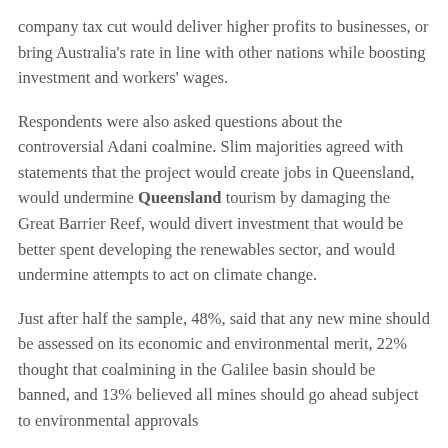company tax cut would deliver higher profits to businesses, or bring Australia's rate in line with other nations while boosting investment and workers' wages.
Respondents were also asked questions about the controversial Adani coalmine. Slim majorities agreed with statements that the project would create jobs in Queensland, would undermine Queensland tourism by damaging the Great Barrier Reef, would divert investment that would be better spent developing the renewables sector, and would undermine attempts to act on climate change.
Just after half the sample, 48%, said that any new mine should be assessed on its economic and environmental merit, 22% thought that coalmining in the Galilee basin should be banned, and 13% believed all mines should go ahead subject to environmental approvals